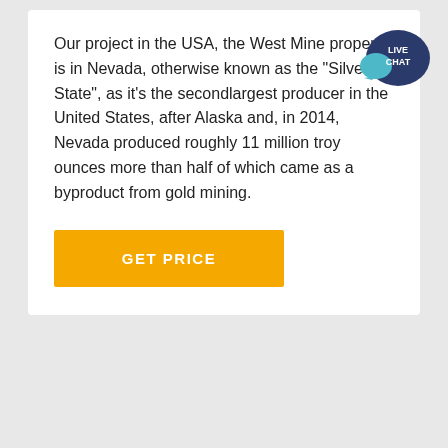Our project in the USA, the West Mine property, is in Nevada, otherwise known as the "Silver State", as it's the secondlargest producer in the United States, after Alaska and, in 2014, Nevada produced roughly 11 million troy ounces more than half of which came as a byproduct from gold mining.
[Figure (other): Live Chat speech bubble icon with text LIVE CHAT in teal/dark blue colors]
GET PRICE